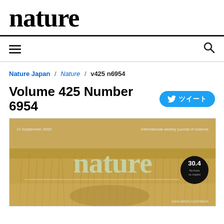nature
Nature Japan / Nature / v425 n6954
Volume 425 Number 6954
[Figure (photo): Cover of Nature journal Volume 425 Number 6954, dated 11 September 2003. Shows the Nature masthead in light green serif font over a background of dry golden grass with an animal partially visible. Top left: '11 September 2003', top right: 'International weekly journal of science'. Bottom right circle badge: '30.4 No hoax no impact'. Bottom right: 'www.nature.com/nature'.]